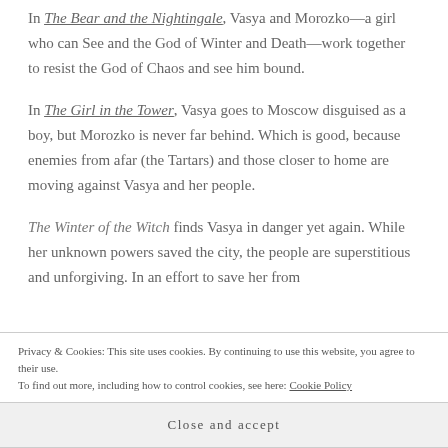In The Bear and the Nightingale, Vasya and Morozko—a girl who can See and the God of Winter and Death—work together to resist the God of Chaos and see him bound.
In The Girl in the Tower, Vasya goes to Moscow disguised as a boy, but Morozko is never far behind. Which is good, because enemies from afar (the Tartars) and those closer to home are moving against Vasya and her people.
The Winter of the Witch finds Vasya in danger yet again. While her unknown powers saved the city, the people are superstitious and unforgiving. In an effort to save her from
Privacy & Cookies: This site uses cookies. By continuing to use this website, you agree to their use.
To find out more, including how to control cookies, see here: Cookie Policy
Close and accept